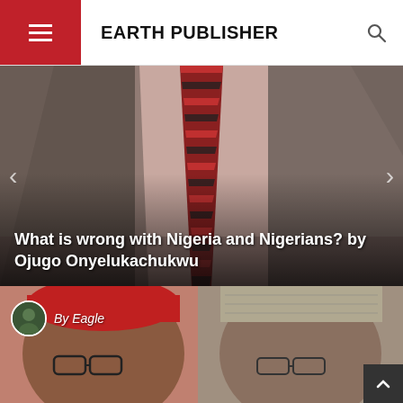EARTH PUBLISHER
[Figure (photo): A man in a grey suit with a red and black striped tie, shown from the torso down, seated. Navigation arrows visible on left and right sides of the image.]
What is wrong with Nigeria and Nigerians? by Ojugo Onyelukachukwu
[Figure (photo): Two Nigerian men shown from shoulders up. Left man wears a red cap and glasses; right man wears a patterned traditional cap and glasses. Author credit 'By Eagle' overlaid at top left with author avatar.]
By Eagle